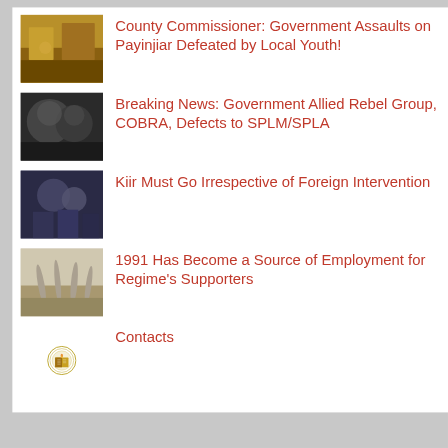County Commissioner: Government Assaults on Payinjiar Defeated by Local Youth!
Breaking News: Government Allied Rebel Group, COBRA, Defects to SPLM/SPLA
Kiir Must Go Irrespective of Foreign Intervention
1991 Has Become a Source of Employment for Regime's Supporters
Contacts
Advertisements
[Figure (logo): Longreads advertisement banner with red background. Text: LONGREADS. Tagline: The best stories on the web – ours, and everyone else's.]